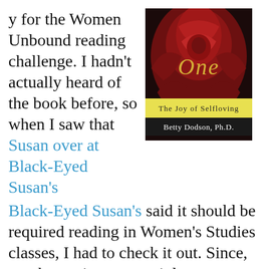y for the Women Unbound reading challenge. I hadn't actually heard of the book before, so when I saw that Susan over at Black-Eyed Susan's said it should be required reading in Women's Studies classes, I had to check it out. Since, you know, it was certainly never mentioned in any of the Women's Studies classes I took throughout college or graduate school.
[Figure (photo): Book cover of 'Sex for One: The Joy of Selfloving' by Betty Dodson, Ph.D. Features a red rose on dark background with gold and white text.]
Betty Dodson is a sexologist (her Ph.D. is in sexology). She also has a very current